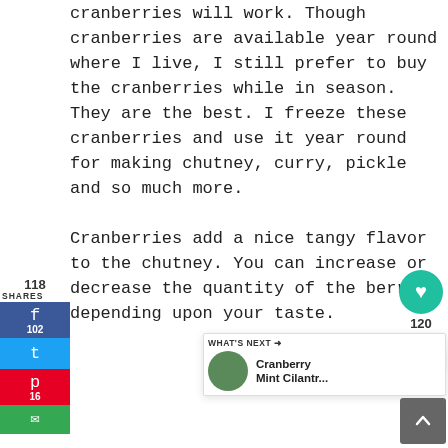cranberries will work. Though cranberries are available year round where I live, I still prefer to buy the cranberries while in season. They are the best. I freeze these cranberries and use it year round for making chutney, curry, pickle and so much more.

Cranberries add a nice tangy flavor to the chutney. You can increase or decrease the quantity of the berries depending upon your taste.
[Figure (infographic): Social sharing sidebar with Facebook (102 shares), Twitter, Pinterest (16 saves), and Email buttons. Shows 118 total shares.]
[Figure (infographic): Heart/like button (teal circle, 120 likes) and share icon floating on right side.]
[Figure (infographic): What's Next widget showing Cranberry Mint Cilantr... with a round food photo thumbnail.]